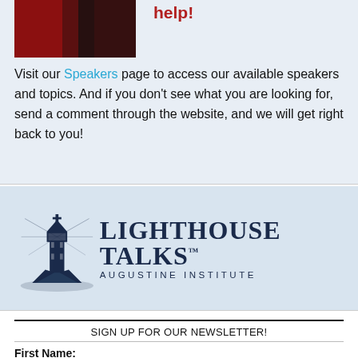[Figure (photo): Red and dark background image, partially visible at top left]
help!
Visit our Speakers page to access our available speakers and topics. And if you don't see what you are looking for, send a comment through the website, and we will get right back to you!
[Figure (logo): Lighthouse Talks Augustine Institute logo with lighthouse illustration and text]
SIGN UP FOR OUR NEWSLETTER!
First Name: